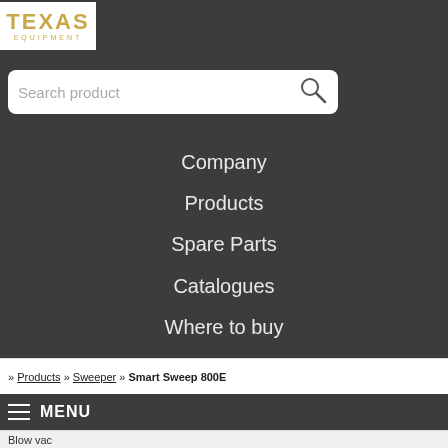[Figure (logo): Texas Equipment logo — white rectangle with 'TEXAS' in gold bold and 'EQUIPMENT' in small gold letters below]
Search product
Company
Products
Spare Parts
Catalogues
Where to buy
» Products » Sweeper » Smart Sweep 800E
MENU
Blow vac